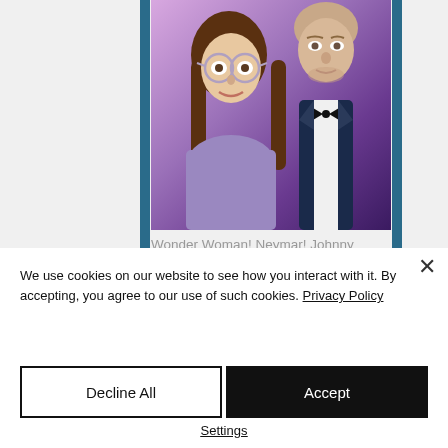[Figure (photo): Photo of a young woman with glasses posing next to what appears to be a wax figure of a man in a tuxedo with bow tie, against a purple background. Likely taken at Madame Tussaud's.]
Wonder Woman! Neymar! Johnny Depp! Taylor Swift! Bieber! Ali! See them all! At Madame Tussaud's
We use cookies on our website to see how you interact with it. By accepting, you agree to our use of such cookies. Privacy Policy
Decline All
Accept
Settings